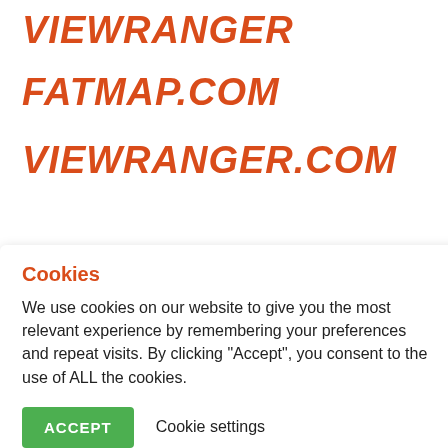VIEWRANGER
FATMAP.COM
VIEWRANGER.COM
Cookies
We use cookies on our website to give you the most relevant experience by remembering your preferences and repeat visits. By clicking “Accept”, you consent to the use of ALL the cookies.
ACCEPT   Cookie settings
REJECT
[Figure (screenshot): Map view screenshot showing alpine terrain with zoom plus, zoom minus, and compass/rotate buttons on the right side. Partial text labels visible: 'letscher', 'oden', '5', 'berg', '32']